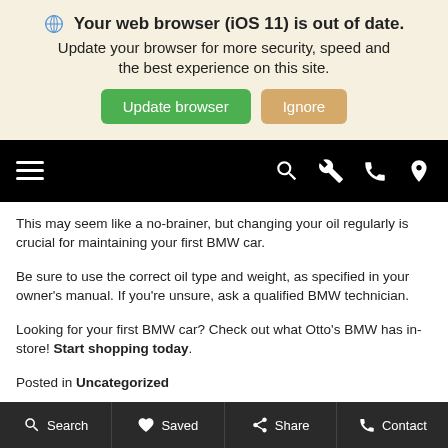[Figure (screenshot): Browser update notification banner with globe icon, bold title 'Your web browser (iOS 11) is out of date.', subtitle text, and two buttons: green 'Update browser' and tan 'Ignore']
[Figure (screenshot): Black navigation bar with hamburger menu on left and search, wrench, phone, and location pin icons on right]
This may seem like a no-brainer, but changing your oil regularly is crucial for maintaining your first BMW car.
Be sure to use the correct oil type and weight, as specified in your owner's manual. If you're unsure, ask a qualified BMW technician.
Looking for your first BMW car? Check out what Otto's BMW has in-store! Start shopping today.
Posted in Uncategorized
LEAVE A REPLY
[Figure (screenshot): Dark bottom navigation bar with four buttons: Search, Saved, Share, Contact]